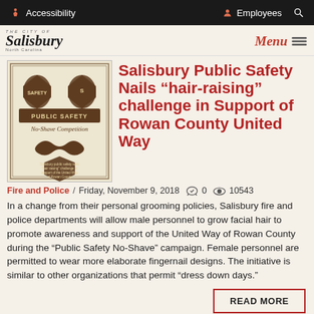Accessibility / Employees / Search
[Figure (logo): The City of Salisbury, North Carolina logo with italic serif text]
Menu
[Figure (illustration): Salisbury Public Safety No-Shave Competition promotional flyer with shield logos and mustache graphic on a tan background with decorative border]
Salisbury Public Safety Nails “hair-raising” challenge in Support of Rowan County United Way
Fire and Police / Friday, November 9, 2018   0   10543
In a change from their personal grooming policies, Salisbury fire and police departments will allow male personnel to grow facial hair to promote awareness and support of the United Way of Rowan County during the “Public Safety No-Shave” campaign. Female personnel are permitted to wear more elaborate fingernail designs. The initiative is similar to other organizations that permit “dress down days.”
READ MORE